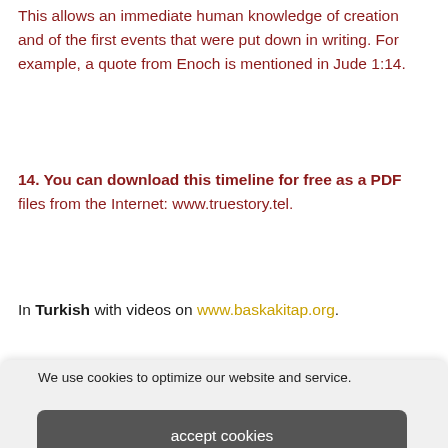This allows an immediate human knowledge of creation and of the first events that were put down in writing. For example, a quote from Enoch is mentioned in Jude 1:14.
14. You can download this timeline for free as a PDF files from the Internet: www.truestory.tel.
In Turkish with videos on www.baskakitap.org.
We use cookies to optimize our website and service.
accept cookies
Reject
show settings
Cookie Policy   Privacy Policy   Contact